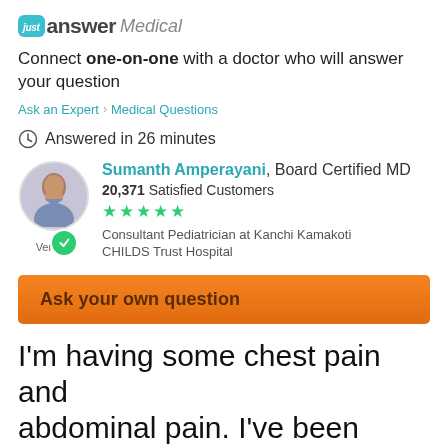[Figure (logo): JustAnswer Medical logo with teal badge and italic medical text]
Connect one-on-one with a doctor who will answer your question
Ask an Expert > Medical Questions
Answered in 26 minutes
[Figure (photo): Doctor profile card: Sumanth Amperayani, Board Certified MD, 20,371 Satisfied Customers, 5 stars, Consultant Pediatrician at Kanchi Kamakoti CHILDS Trust Hospital, Verified badge]
Ask your own question
I'm having some chest pain and abdominal pain. I've been